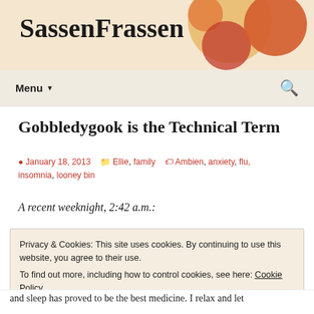SassenFrassen
Gobbledygook is the Technical Term
January 18, 2013  Ellie, family  Ambien, anxiety, flu, insomnia, looney bin
A recent weeknight, 2:42 a.m.:
Privacy & Cookies: This site uses cookies. By continuing to use this website, you agree to their use.
To find out more, including how to control cookies, see here: Cookie Policy
Close and accept
and sleep has proved to be the best medicine. I relax and let